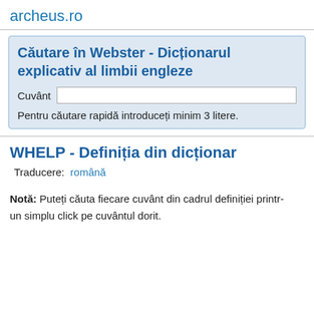archeus.ro
Căutare în Webster - Dicționarul explicativ al limbii engleze
Cuvânt
Pentru căutare rapidă introduceți minim 3 litere.
WHELP - Definiția din dicționar
Traducere:  română
Notă: Puteți căuta fiecare cuvânt din cadrul definiției printr-un simplu click pe cuvântul dorit.